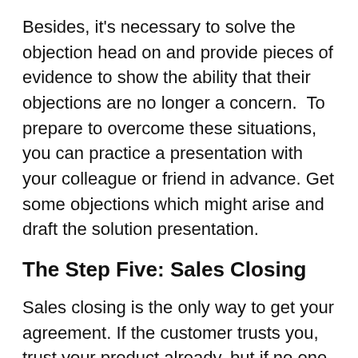Besides, it's necessary to solve the objection head on and provide pieces of evidence to show the ability that their objections are no longer a concern.  To prepare to overcome these situations, you can practice a presentation with your colleague or friend in advance. Get some objections which might arise and draft the solution presentation.
The Step Five: Sales Closing
Sales closing is the only way to get your agreement. If the customer trusts you, trust your product already, but if no one tells the customer what to do next, the customer will not buy. The thing you always have to do is ask the key questions. Do not be afraid, be confident because you are giving value to your